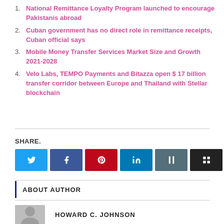National Remittance Loyalty Program launched to encourage Pakistanis abroad
Cuban government has no direct role in remittance receipts, Cuban official says
Mobile Money Transfer Services Market Size and Growth 2021-2028
Velo Labs, TEMPO Payments and Bitazza open $ 17 billion transfer corridor between Europe and Thailand with Stellar blockchain
SHARE.
ABOUT AUTHOR
HOWARD C. JOHNSON